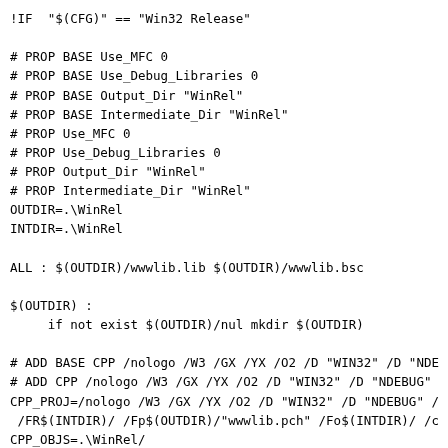!IF  "$(CFG)" == "Win32 Release"

# PROP BASE Use_MFC 0
# PROP BASE Use_Debug_Libraries 0
# PROP BASE Output_Dir "WinRel"
# PROP BASE Intermediate_Dir "WinRel"
# PROP Use_MFC 0
# PROP Use_Debug_Libraries 0
# PROP Output_Dir "WinRel"
# PROP Intermediate_Dir "WinRel"
OUTDIR=.\WinRel
INTDIR=.\WinRel

ALL : $(OUTDIR)/wwwlib.lib $(OUTDIR)/wwwlib.bsc

$(OUTDIR) :
     if not exist $(OUTDIR)/nul mkdir $(OUTDIR)

# ADD BASE CPP /nologo /W3 /GX /YX /O2 /D "WIN32" /D "NDE
# ADD CPP /nologo /W3 /GX /YX /O2 /D "WIN32" /D "NDEBUG"
CPP_PROJ=/nologo /W3 /GX /YX /O2 /D "WIN32" /D "NDEBUG" /
 /FR$(INTDIR)/ /Fp$(OUTDIR)/"wwwlib.pch" /Fo$(INTDIR)/ /c
CPP_OBJS=.\WinRel/
BSC32=bscmake.exe
# ADD BASE BSC32 /nologo
# ADD BSC32 /nologo
BSC32_FLAGS=/nologo /o$(OUTDIR)/"wwwlib.bsc"
BSC32_SBRS= \
        $(INTDIR)/HTChunk.sbr \